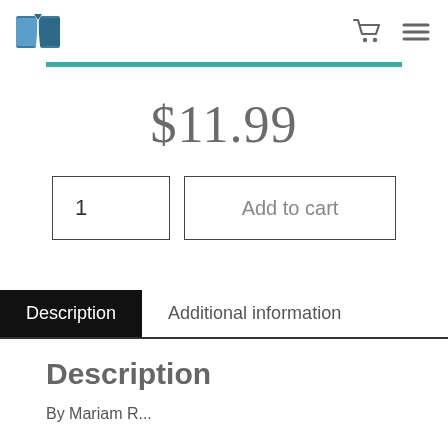Bookstore logo, cart icon, and menu icon
$11.99
1   Add to cart
Description | Additional information
Description
By Mariam R...